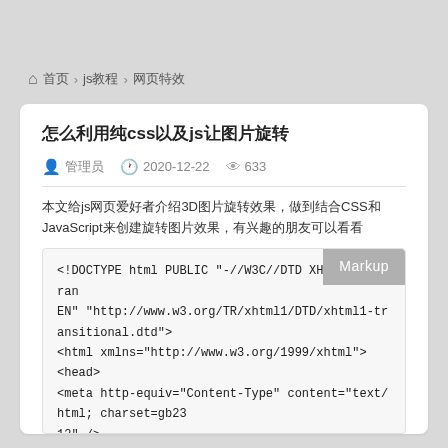🏠 首页 > js教程 > 网页特效
怎么利用纯css以及js让图片旋转
管理员  2020-12-22  633
本文给js网页爱好者介绍3D图片旋转效果，做到结合CSS和JavaScript来创建旋转图片效果，有兴趣的朋友可以看看
<!DOCTYPE html PUBLIC "-//W3C//DTD XHTML 1.0 Transitional//EN" "http://www.w3.org/TR/xhtml1/DTD/xhtml1-transitional.dtd">
<html xmlns="http://www.w3.org/1999/xhtml">
<head>
<meta http-equiv="Content-Type" content="text/html; charset=gb2312" />
<title>图片旋转代码大全_网页特效</title>
<meta name="keywords" content="特效,图片旋转,图片旋转代码,网页代码,网页特效,js特效,js图片旋转,旋转" />
<meta name="description" content="想要了解我们的网站www.64pc.com全部" />